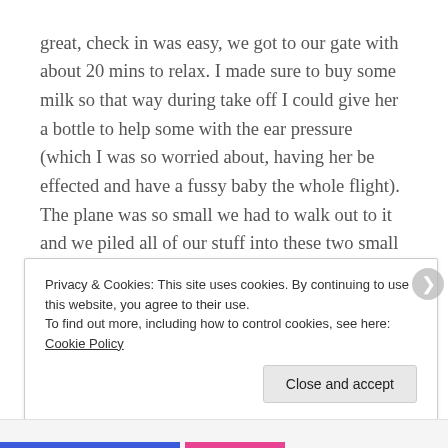great, check in was easy, we got to our gate with about 20 mins to relax. I made sure to buy some milk so that way during take off I could give her a bottle to help some with the ear pressure (which I was so worried about, having her be effected and have a fussy baby the whole flight). The plane was so small we had to walk out to it and we piled all of our stuff into these two small seats along with the toddler. Luckily my mom was also on the trip with us and was in the seat across from us for reinforcement.
Privacy & Cookies: This site uses cookies. By continuing to use this website, you agree to their use.
To find out more, including how to control cookies, see here: Cookie Policy
Close and accept